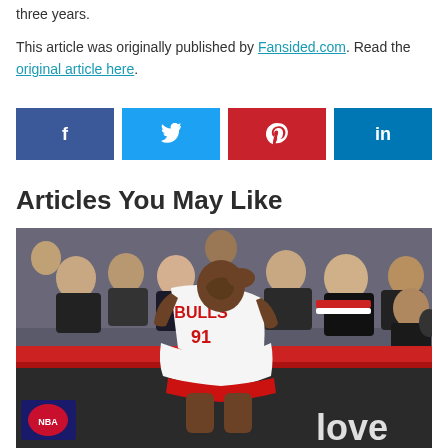three years.
This article was originally published by Fansided.com. Read the original article here.
[Figure (infographic): Social share bar with four buttons: Facebook (dark blue, f icon), Twitter (light blue, bird icon), Pinterest (red, P icon), LinkedIn (teal/blue, 'in' text)]
Articles You May Like
[Figure (photo): A Chicago Bulls basketball player wearing jersey number 91 leaning over the courtside barrier with head down among a crowd of spectators in the background]